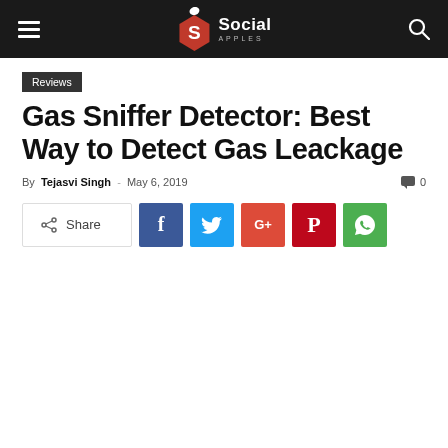Social Apples — navigation header
Reviews
Gas Sniffer Detector: Best Way to Detect Gas Leackage
By Tejasvi Singh - May 6, 2019   0
Share  [Facebook] [Twitter] [Google+] [Pinterest] [WhatsApp]